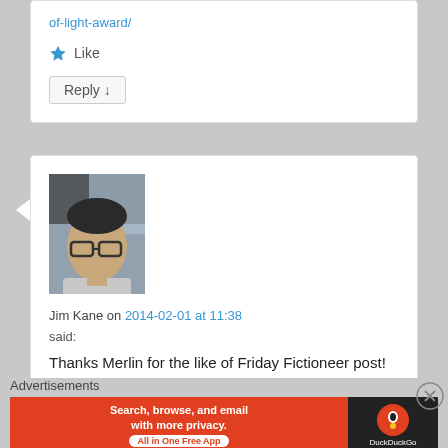of-light-award/
★ Like
Reply ↓
[Figure (photo): Avatar photo of Jim Kane – person wearing glasses, sitting in a car]
Jim Kane on 2014-02-01 at 11:38
said:
Thanks Merlin for the like of Friday Fictioneer post! Best wishes to you in your writing!
Advertisements
[Figure (screenshot): DuckDuckGo advertisement banner: 'Search, browse, and email with more privacy. All in One Free App' on orange background with DuckDuckGo logo on dark background]